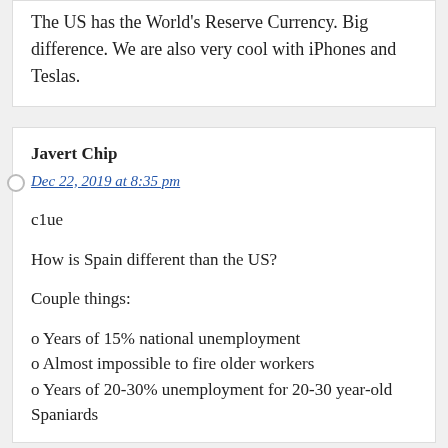The US has the World's Reserve Currency. Big difference. We are also very cool with iPhones and Teslas.
Javert Chip
Dec 22, 2019 at 8:35 pm
c1ue

How is Spain different than the US?

Couple things:

o Years of 15% national unemployment
o Almost impossible to fire older workers
o Years of 20-30% unemployment for 20-30 year-old Spaniards